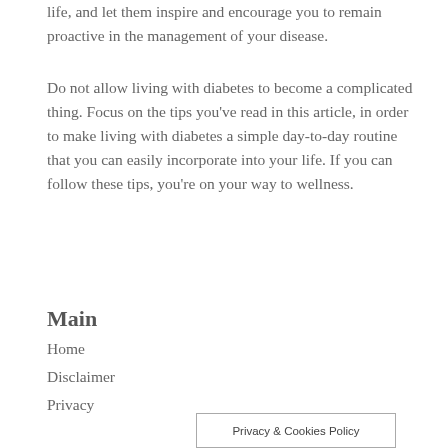life, and let them inspire and encourage you to remain proactive in the management of your disease.
Do not allow living with diabetes to become a complicated thing. Focus on the tips you've read in this article, in order to make living with diabetes a simple day-to-day routine that you can easily incorporate into your life. If you can follow these tips, you're on your way to wellness.
Main
Home
Disclaimer
Privacy
Privacy & Cookies Policy